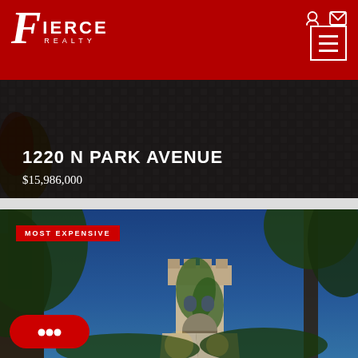[Figure (logo): Fierce Realty logo — white italic F with IERCE and REALTY text on red background]
[Figure (screenshot): Navigation header with hamburger menu icon and user/mail icons on dark red background]
1220 N PARK AVENUE
$15,986,000
[Figure (photo): Luxury estate exterior at dusk with palm trees, ivy-covered tower, and illuminated entryway. Badge reads: MOST EXPENSIVE]
[Figure (other): Red chat bubble button with three dots]